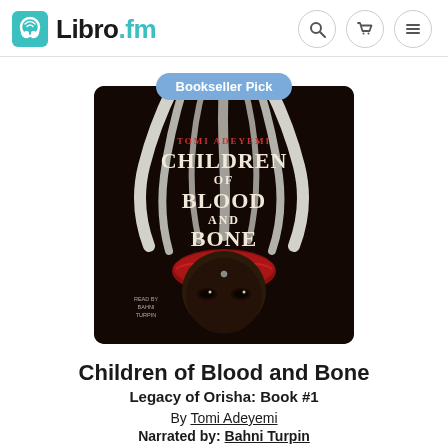Libro.fm
[Figure (illustration): Book cover of 'Children of Blood and Bone' by Tomi Adeyemi, narrated by Bahni Turpin. Dark cover with a figure with white flowing hair and a red headband. Text shows 'TOMI ADEYEMI CHILDREN OF BLOOD AND BONE' and 'READ BY BAHNI TURPIN'. Overlaid with a 'Bookseller Pick' badge.]
Children of Blood and Bone
Legacy of Orisha: Book #1
By Tomi Adeyemi
Narrated by: Bahni Turpin